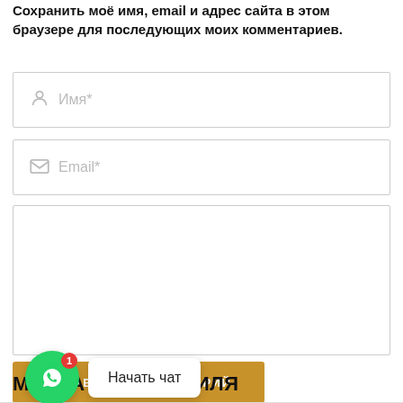Сохранить моё имя, email и адрес сайта в этом браузере для последующих моих комментариев.
[Figure (screenshot): Form field for name input with person icon and placeholder 'Имя*']
[Figure (screenshot): Form field for email input with envelope icon and placeholder 'Email*']
[Figure (screenshot): Textarea for comment with edit icon and placeholder 'Ваш комментарий*' and resize handle]
[Figure (screenshot): Submit button labeled 'ОСТАВИТЬ КОММЕНТАРИЙ' in golden/amber color]
[Figure (screenshot): WhatsApp chat widget: green circle with WhatsApp icon, red badge showing '1', speech bubble saying 'Начать чат']
МАРКА АВТОМОБИЛЯ